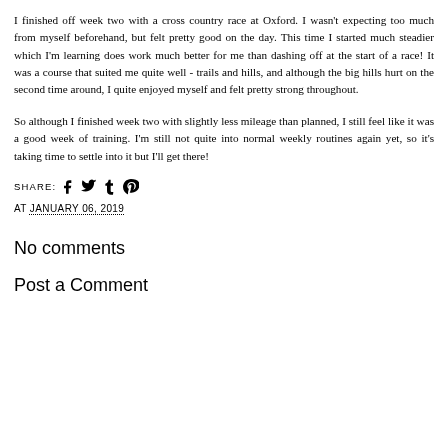I finished off week two with a cross country race at Oxford. I wasn't expecting too much from myself beforehand, but felt pretty good on the day. This time I started much steadier which I'm learning does work much better for me than dashing off at the start of a race! It was a course that suited me quite well - trails and hills, and although the big hills hurt on the second time around, I quite enjoyed myself and felt pretty strong throughout.
So although I finished week two with slightly less mileage than planned, I still feel like it was a good week of training. I'm still not quite into normal weekly routines again yet, so it's taking time to settle into it but I'll get there!
SHARE: [social icons: facebook, twitter, tumblr, pinterest]
AT JANUARY 06, 2019
No comments
Post a Comment